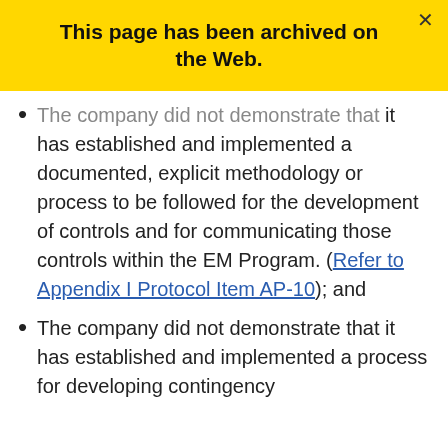This page has been archived on the Web.
The company did not demonstrate that it has established and implemented a documented, explicit methodology or process to be followed for the development of controls and for communicating those controls within the EM Program. (Refer to Appendix I Protocol Item AP-10); and
The company did not demonstrate that it has established and implemented a process for developing contingency